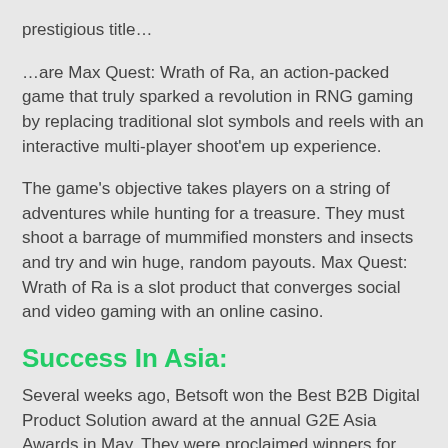prestigious title…
…are Max Quest: Wrath of Ra, an action-packed game that truly sparked a revolution in RNG gaming by replacing traditional slot symbols and reels with an interactive multi-player shoot'em up experience.
The game's objective takes players on a string of adventures while hunting for a treasure. They must shoot a barrage of mummified monsters and insects and try and win huge, random payouts. Max Quest: Wrath of Ra is a slot product that converges social and video gaming with an online casino.
Success In Asia:
Several weeks ago, Betsoft won the Best B2B Digital Product Solution award at the annual G2E Asia Awards in May. They were proclaimed winners for their expanding game portfolio, product development, and client